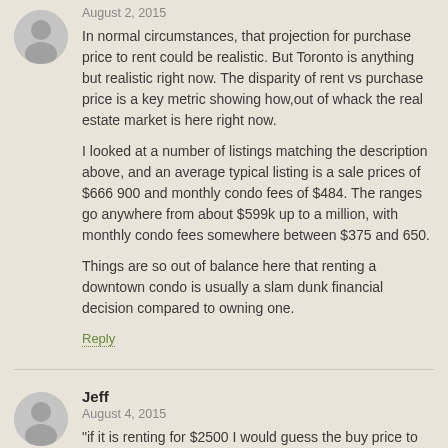August 2, 2015
In normal circumstances, that projection for purchase price to rent could be realistic. But Toronto is anything but realistic right now. The disparity of rent vs purchase price is a key metric showing how,out of whack the real estate market is here right now.
I looked at a number of listings matching the description above, and an average typical listing is a sale prices of $666 900 and monthly condo fees of $484. The ranges go anywhere from about $599k up to a million, with monthly condo fees somewhere between $375 and 650.
Things are so out of balance here that renting a downtown condo is usually a slam dunk financial decision compared to owning one.
Reply
Jeff
August 4, 2015
"if it is renting for $2500 I would guess the buy price to be $300,000 or less"